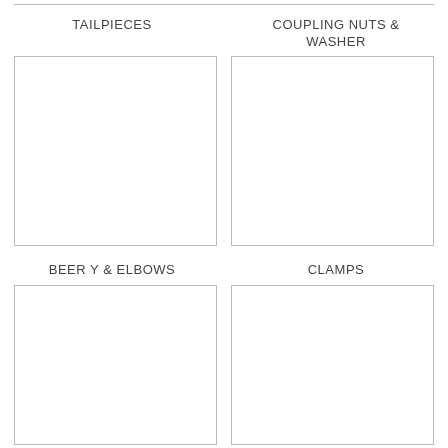[Figure (illustration): Empty box placeholder for TAILPIECES image]
TAILPIECES
[Figure (illustration): Empty box placeholder for COUPLING NUTS & WASHER image]
COUPLING NUTS & WASHER
BEER Y & ELBOWS
[Figure (illustration): Empty box placeholder for BEER Y & ELBOWS image]
CLAMPS
[Figure (illustration): Empty box placeholder for CLAMPS image]